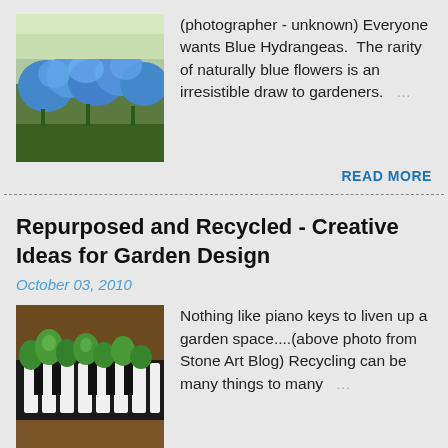[Figure (photo): Photo of blue hydrangea flowers along a garden path]
(photographer - unknown) Everyone wants Blue Hydrangeas. The rarity of naturally blue flowers is an irresistible draw to gardeners. ...
READ MORE
Repurposed and Recycled - Creative Ideas for Garden Design
October 03, 2010
[Figure (photo): Photo of piano keys used as garden planters with green plants growing from them]
Nothing like piano keys to liven up a garden space....(above photo from Stone Art Blog) Recycling can be many things to many ...
READ MORE
Planting Design for Dry Gardens - Sliding ...